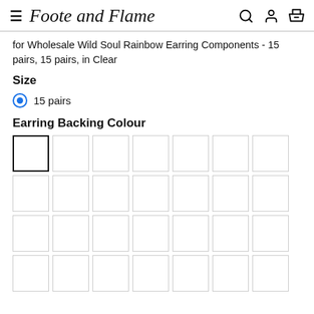Foote and Flame
for Wholesale Wild Soul Rainbow Earring Components - 15 pairs, 15 pairs, in Clear
Size
15 pairs
Earring Backing Colour
[Figure (other): Grid of colour swatch selector boxes, 4 rows of 7 swatches each, first swatch selected with bold border]